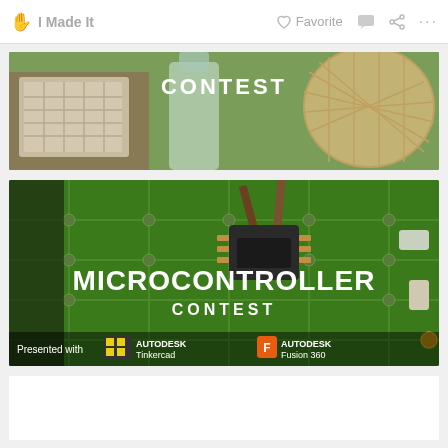✋ I Made It    ♡ Favorite    💬    ⟨    ...
[Figure (photo): Partial top portion of a CONTEST banner image showing knitted items, a glass bottle, and woven basket on a green outdoor background with 'CONTEST' text overlay]
[Figure (photo): Microcontroller Contest banner image showing tweezers placing an IC chip on a green circuit board. Large white text reads 'MICROCONTROLLER CONTEST'. Bottom shows 'Presented with' followed by TinkerCAD and AUTODESK Tinkercad logos and Fusion 360 logo.]